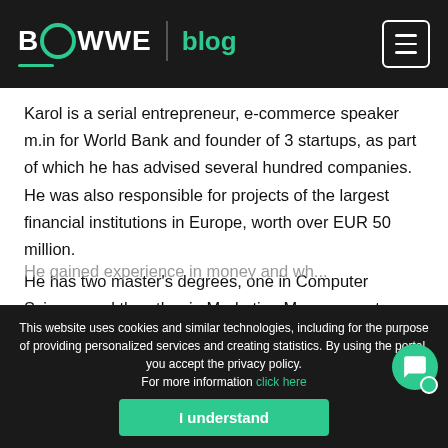BOWWE blog
Karol is a serial entrepreneur, e-commerce speaker m.in for World Bank and founder of 3 startups, as part of which he has advised several hundred companies. He was also responsible for projects of the largest financial institutions in Europe, worth over EUR 50 million.
He has two master's degrees, one in Computer Science and the other in Marketing Management,
He gained experience in money and wh...
This website uses cookies and similar technologies, including for the purpose of providing personalized services and creating statistics. By using the portal, you accept the privacy policy.
For more information click here
I understand